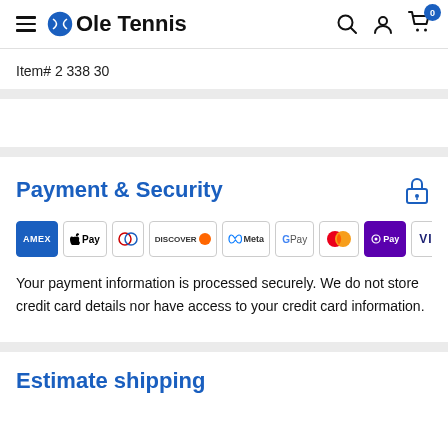Ole Tennis — navigation header with search, account, and cart icons
Item# 2 338 30
Payment & Security
[Figure (other): Row of accepted payment method logos: AMEX, Apple Pay, Diners Club, Discover, Meta Pay, Google Pay, Mastercard, Shop Pay, Visa]
Your payment information is processed securely. We do not store credit card details nor have access to your credit card information.
Estimate shipping